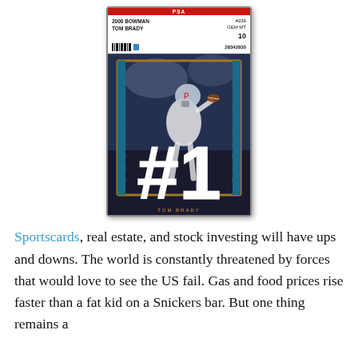[Figure (photo): PSA graded trading card — 2000 Bowman Tom Brady #236 GEM MT 10, serial 28342930, showing Tom Brady in Patriots uniform throwing a football with a large #1 overlaid on the card image]
Sportscards, real estate, and stock investing will have ups and downs. The world is constantly threatened by forces that would love to see the US fail. Gas and food prices rise faster than a fat kid on a Snickers bar. But one thing remains a